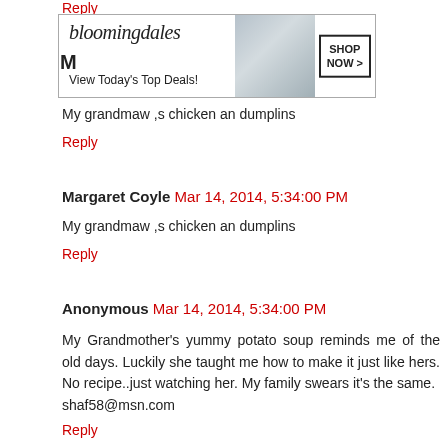Reply (partial, from top)
[Figure (screenshot): Bloomingdale's advertisement banner: logo text 'bloomingdales', tagline 'View Today's Top Deals!', image of woman with hat, 'SHOP NOW >' button]
My grandmaw ,s chicken an dumplins
Reply
Margaret Coyle  Mar 14, 2014, 5:34:00 PM
My grandmaw ,s chicken an dumplins
Reply
Anonymous  Mar 14, 2014, 5:34:00 PM
My Grandmother's yummy potato soup reminds me of the old days. Luckily she taught me how to make it just like hers. No recipe..just watching her. My family swears it's the same.
shaf58@msn.com
Reply